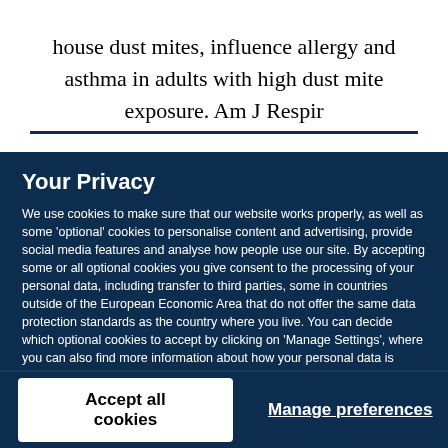house dust mites, influence allergy and asthma in adults with high dust mite exposure. Am J Respir Crit Care Med 2001; 164:65–71.
Your Privacy
We use cookies to make sure that our website works properly, as well as some 'optional' cookies to personalise content and advertising, provide social media features and analyse how people use our site. By accepting some or all optional cookies you give consent to the processing of your personal data, including transfer to third parties, some in countries outside of the European Economic Area that do not offer the same data protection standards as the country where you live. You can decide which optional cookies to accept by clicking on 'Manage Settings', where you can also find more information about how your personal data is processed. Further information can be found in our privacy policy.
Accept all cookies
Manage preferences